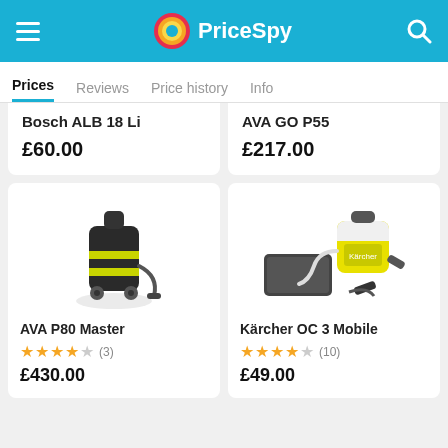PriceSpy
Prices | Reviews | Price history | Info
Bosch ALB 18 Li
£60.00
AVA GO P55
£217.00
[Figure (photo): AVA P80 Master pressure washer backpack, black and yellow]
AVA P80 Master
★★★½ (3)
£430.00
[Figure (photo): Kärcher OC 3 Mobile portable cleaner kit, yellow and white]
Kärcher OC 3 Mobile
★★★★ (10)
£49.00